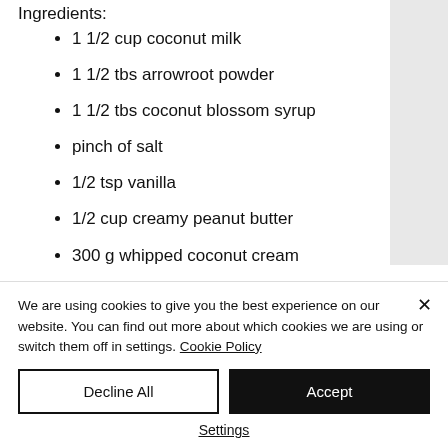Ingredients:
1 1/2 cup coconut milk
1 1/2 tbs arrowroot powder
1 1/2 tbs coconut blossom syrup
pinch of salt
1/2 tsp vanilla
1/2 cup creamy peanut butter
300 g whipped coconut cream
We are using cookies to give you the best experience on our website. You can find out more about which cookies we are using or switch them off in settings. Cookie Policy
Decline All
Accept
Settings